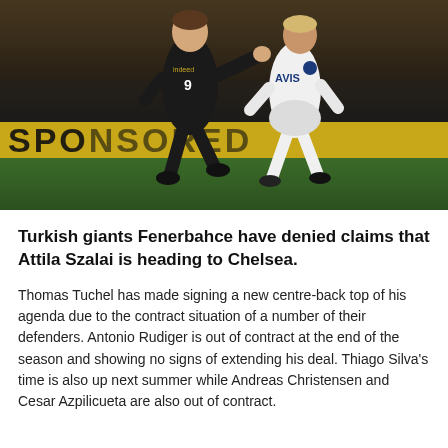[Figure (photo): Two football players in action on a pitch. One player in a black uniform with number 9 (Eintracht Frankfurt, 'indeed' sponsor) and another in a white uniform with 'AVIS' sponsor (Fenerbahce). A yellow advertising banner reading 'SPO...' is visible in the background along with stadium crowd.]
Turkish giants Fenerbahce have denied claims that Attila Szalai is heading to Chelsea.
Thomas Tuchel has made signing a new centre-back top of his agenda due to the contract situation of a number of their defenders. Antonio Rudiger is out of contract at the end of the season and showing no signs of extending his deal. Thiago Silva's time is also up next summer while Andreas Christensen and Cesar Azpilicueta are also out of contract.